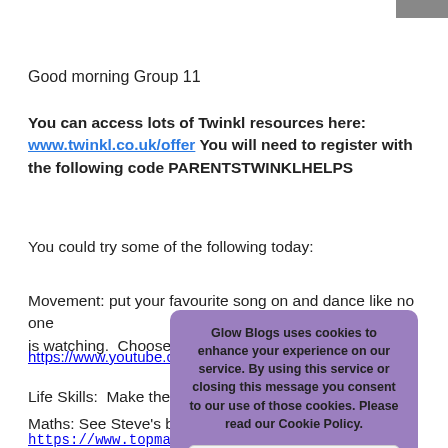Good morning Group 11
You can access lots of Twinkl resources here: www.twinkl.co.uk/offer You will need to register with the following code PARENTSTWINKLHELPS
You could try some of the following today:
Movement: put your favourite song on and dance like no one is watching.  Choose a party song
https://www.youtube.com/...InTc
Life Skills:  Make the b...
Maths: See Steve's blog or use
https://www.topmarks.co.uk/maths-games/5-7-
[Figure (screenshot): Cookie consent popup dialog with purple background reading: 'Glow Blogs uses cookies to enhance your experience on our service. By using this service or closing this message you consent to our use of those cookies. Please read our Cookie Policy.' with an OK button below.]